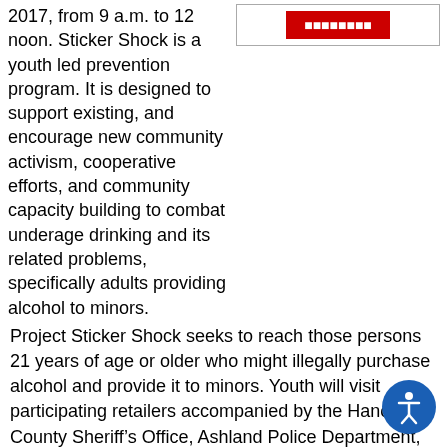2017, from 9 a.m. to 12 noon. Sticker Shock is a youth led prevention program. It is designed to support existing, and encourage new community activism, cooperative efforts, and community capacity building to combat underage drinking and its related problems, specifically adults providing alcohol to minors.
[Figure (other): Red button/banner partially visible in top right area]
Project Sticker Shock seeks to reach those persons 21 years of age or older who might illegally purchase alcohol and provide it to minors. Youth will visit participating retailers accompanied by the Hanover County Sheriff's Office, Ashland Police Department, and members from Hanover County Community Services. They will place prevention stickers on multi-packs of beer, wine coolers, and other alcohol products that might appeal to underage drinkers. The stickers display a warning message about the penalties for purchasing or providing alcohol to minors.
The project represents a partnership between youth, licensed establishments, concerned parents and community members, prevention professionals, and law enforcement with the goal of educating persons 21 and older of the